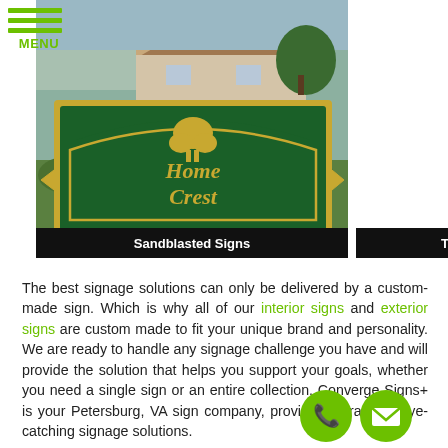[Figure (photo): Green outdoor sign for HomeCrest community with gold lettering and tree logo, mounted with a house and trees in background]
Sandblasted Signs
Trade Show Displays
The best signage solutions can only be delivered by a custom-made sign. Which is why all of our interior signs and exterior signs are custom made to fit your unique brand and personality. We are ready to handle any signage challenge you have and will provide the solution that helps you support your goals, whether you need a single sign or an entire collection. Converge Signs+ is your Petersburg, VA sign company, providing attractive, eye-catching signage solutions.